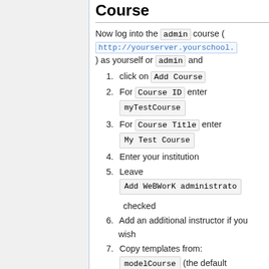Course
Now log into the admin course ( http://yourserver.yourschool. ) as yourself or admin and
1. click on Add Course
2. For Course ID enter myTestCourse
3. For Course Title enter My Test Course
4. Enter your institution
5. Leave Add WeBWorK administrator checked
6. Add an additional instructor if you wish
7. Copy templates from: modelCourse (the default action)
8. Select sql_single for the database